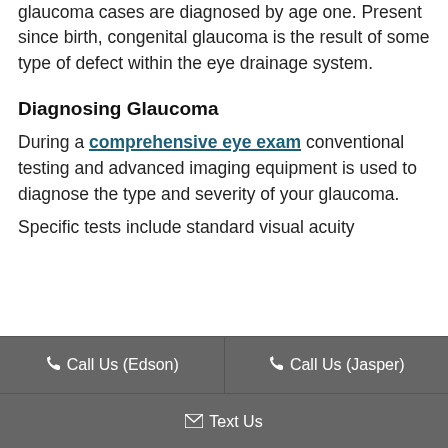glaucoma cases are diagnosed by age one. Present since birth, congenital glaucoma is the result of some type of defect within the eye drainage system.
Diagnosing Glaucoma
During a comprehensive eye exam conventional testing and advanced imaging equipment is used to diagnose the type and severity of your glaucoma.
Specific tests include standard visual acuity
Call Us (Edson) | Call Us (Jasper) | Text Us